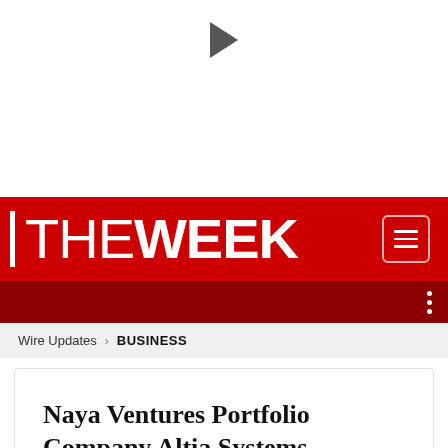[Figure (other): Play button triangle icon on white background]
THE WEEK
Naya Ventures Portfolio Company Altia Systems Acquired by GN Audio for 125M
Wire Updates > BUSINESS